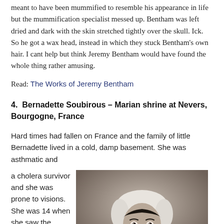meant to have been mummified to resemble his appearance in life but the mummification specialist messed up. Bentham was left dried and dark with the skin stretched tightly over the skull. Ick. So he got a wax head, instead in which they stuck Bentham's own hair. I cant help but think Jeremy Bentham would have found the whole thing rather amusing.
Read: The Works of Jeremy Bentham
4. Bernadette Soubirous – Marian shrine at Nevers, Bourgogne, France
Hard times had fallen on France and the family of little Bernadette lived in a cold, damp basement. She was asthmatic and
a cholera survivor and she was prone to visions. She was 14 when she saw the
[Figure (photo): Black and white portrait photograph of Bernadette Soubirous, a young woman wearing a white head covering and dark clothing, looking directly at the camera.]